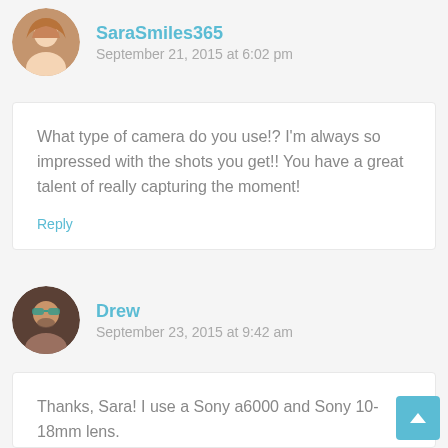SaraSmiles365
September 21, 2015 at 6:02 pm
What type of camera do you use!? I'm always so impressed with the shots you get!! You have a great talent of really capturing the moment!
Reply
Drew
September 23, 2015 at 9:42 am
Thanks, Sara! I use a Sony a6000 and Sony 10-18mm lens.